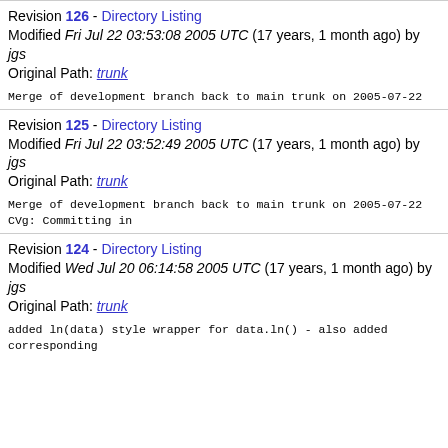Revision 126 - Directory Listing
Modified Fri Jul 22 03:53:08 2005 UTC (17 years, 1 month ago) by jgs
Original Path: trunk
Merge of development branch back to main trunk on 2005-07-22
Revision 125 - Directory Listing
Modified Fri Jul 22 03:52:49 2005 UTC (17 years, 1 month ago) by jgs
Original Path: trunk
Merge of development branch back to main trunk on 2005-07-22
CVg: Committing in
Revision 124 - Directory Listing
Modified Wed Jul 20 06:14:58 2005 UTC (17 years, 1 month ago) by jgs
Original Path: trunk
added ln(data) style wrapper for data.ln() - also added corresponding